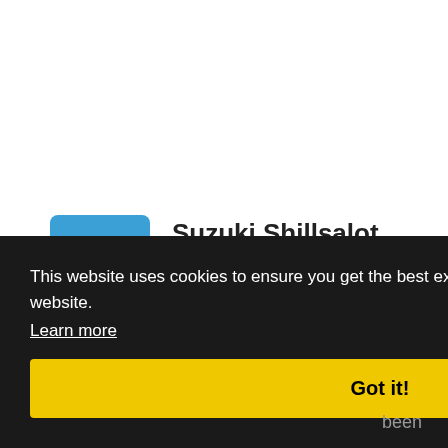[Figure (other): Blue rounded square avatar with white letters AC]
Suzuki Shillsalot
Ambcrypto
7 days ago
XRP achieves a new milestone, beats even BTC
This website uses cookies to ensure you get the best experience on our website. Learn more
Got it!